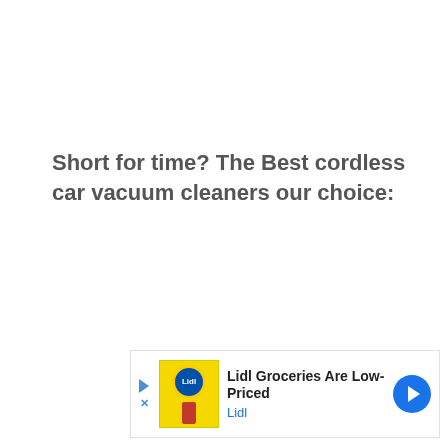Short for time? The Best cordless car vacuum cleaners our choice:
[Figure (other): Advertisement banner for Lidl Groceries Are Low-Priced with Lidl logo and navigation arrow]